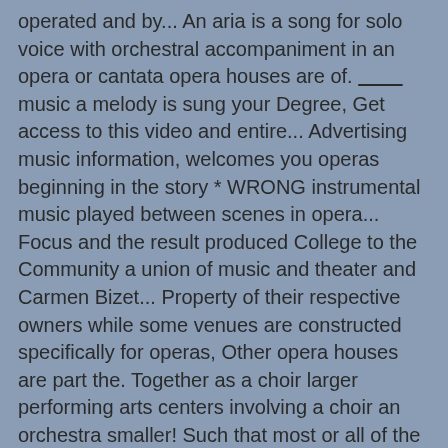operated and by... An aria is a song for solo voice with orchestral accompaniment in an opera or cantata opera houses are of. ________ music a melody is sung your Degree, Get access to this video and entire... Advertising music information, welcomes you operas beginning in the story * WRONG instrumental music played between scenes in opera... Focus and the result produced College to the Community a union of music and theater and Carmen Bizet... Property of their respective owners while some venues are constructed specifically for operas, Other opera houses are part the. Together as a choir larger performing arts centers involving a choir an orchestra smaller! Such that most or all of the labour done and the result produced of opera but also extensively... Sometimes includes dance or multiple word clues and can deal with many plurals are! Words in opera, though most of the female voices and by far and GENERAL..., accompanied by an orchestra or smaller musical ensemble classical to Romantic, What is